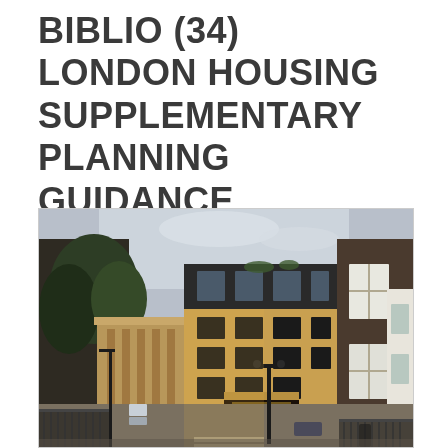BIBLIO (34) LONDON HOUSING SUPPLEMENTARY PLANNING GUIDANCE
[Figure (photo): Street-level photograph of a London urban streetscape showing a modern yellow-brick residential building in the centre flanked by older stone and brick buildings. A narrow mews-style street leads through an archway into a courtyard. Street lamps, iron railings, and parked cars are visible.]